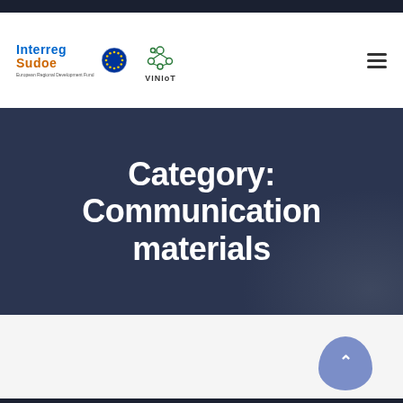[Figure (logo): Interreg Sudoe logo with EU emblem and ERDF text]
[Figure (logo): VINIoT project logo with network/molecule icon]
Category: Communication materials